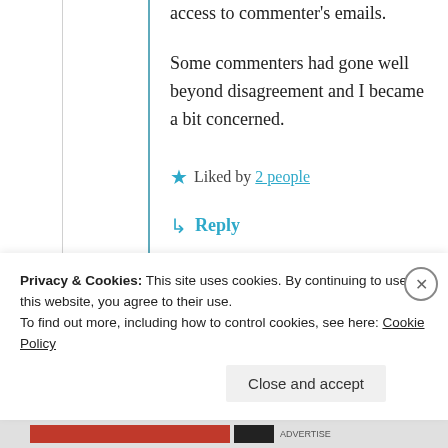access to commenter's emails.
Some commenters had gone well beyond disagreement and I became a bit concerned.
★ Liked by 2 people
↳ Reply
Privacy & Cookies: This site uses cookies. By continuing to use this website, you agree to their use. To find out more, including how to control cookies, see here: Cookie Policy